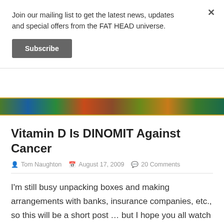Join our mailing list to get the latest news, updates and special offers from the FAT HEAD universe.
Subscribe
[Figure (photo): Colorful banner strip image with various food and lifestyle photos]
Vitamin D Is DINOMIT Against Cancer
Tom Naughton   August 17, 2009   20 Comments
I'm still busy unpacking boxes and making arrangements with banks, insurance companies, etc., so this will be a short post … but I hope you all watch this video and make sure you're getting enough vitamin D.